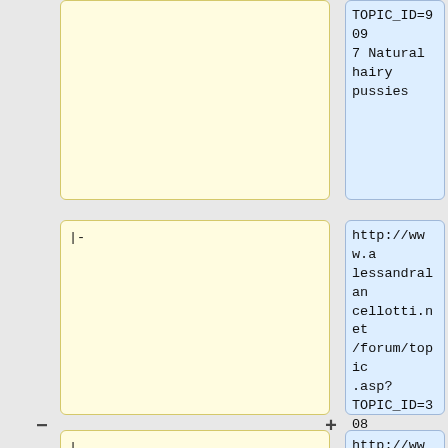TOPIC_ID=9097 Natural hairy pussies
|-
http://www.alessandralancellotti.net/forum/topic.asp?TOPIC_ID=3088 Hot black vids
| align="center" | 5 || [[LiSA]] (Liste der in den Studiengängen Aktiven)
http://www.stripedpitch.com/community/topic.asp?TOPIC_ID=8617 Joy of sex